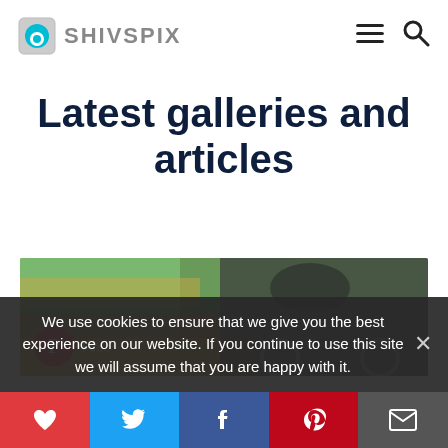SHIVSPIX
Latest galleries and articles
[Figure (photo): Person riding a bicycle near water with colorful reflections, with a red Pinterest button overlay]
We use cookies to ensure that we give you the best experience on our website. If you continue to use this site we will assume that you are happy with it.
Social share buttons: heart, twitter, facebook, pinterest, email